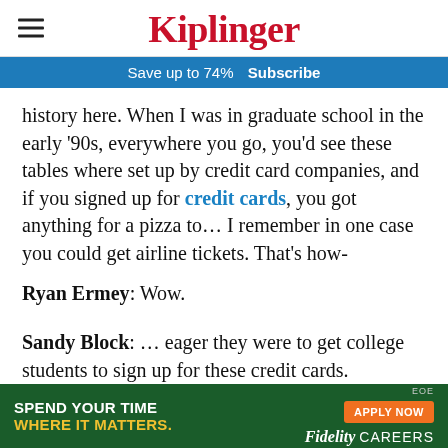Kiplinger
Save up to 74%  Subscribe
history here. When I was in graduate school in the early '90s, everywhere you go, you'd see these tables where set up by credit card companies, and if you signed up for credit cards, you got anything for a pizza to… I remember in one case you could get airline tickets. That's how-
Ryan Ermey: Wow.
Sandy Block: … eager they were to get college students to sign up for these credit cards.
[Figure (infographic): Fidelity Careers advertisement banner: green background with 'SPEND YOUR TIME WHERE IT MATTERS.' text and orange 'APPLY NOW' button, Fidelity Careers logo, EOE tag.]